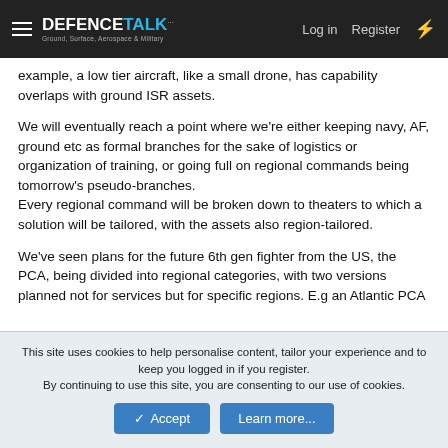DEFENCETALK Log in Register
example, a low tier aircraft, like a small drone, has capability overlaps with ground ISR assets.
We will eventually reach a point where we're either keeping navy, AF, ground etc as formal branches for the sake of logistics or organization of training, or going full on regional commands being tomorrow's pseudo-branches.
Every regional command will be broken down to theaters to which a solution will be tailored, with the assets also region-tailored.
We've seen plans for the future 6th gen fighter from the US, the PCA, being divided into regional categories, with two versions planned not for services but for specific regions. E.g an Atlantic PCA
This site uses cookies to help personalise content, tailor your experience and to keep you logged in if you register.
By continuing to use this site, you are consenting to our use of cookies.